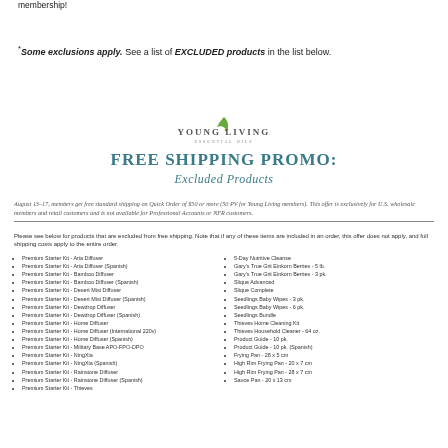membership!
*Some exclusions apply. See a list of EXCLUDED products in the list below.
[Figure (logo): Young Living Essential Oils logo with leaf graphic]
FREE SHIPPING PROMO: Excluded Products
August 13–17, members get free standard shipping on Quick Order of $50 or more (50 PV for Young Living members). This offer is exclusively for U.S. wholesale members and retail customers and is not available for Professional Accounts or NFR customers.
Please see below for products that are excluded from free shipping. Note that if any of these items are included in an order, this offer does not apply, and full shipping costs apply to the entire order.
Premium Starter Kit - Aria Diffuser
Premium Starter Kit - Aria Diffuser (Spanish)
Premium Starter Kit - Bamboo Diffuser
Premium Starter Kit - Bamboo Diffuser (Spanish)
Premium Starter Kit - Desert Mist Diffuser
Premium Starter Kit - Desert Mist Diffuser (Spanish)
Premium Starter Kit - Dewdrop Diffuser
Premium Starter Kit - Dewdrop Diffuser (Spanish)
Premium Starter Kit - Home Diffuser
Premium Starter Kit - Home Diffuser (International 220v)
Premium Starter Kit - Home Diffuser (Spanish)
Premium Starter Kit - Military Base APO-FPO-DPO
Premium Starter Kit - NingXia
Premium Starter Kit - NingXia (Spanish)
Premium Starter Kit - Rainstone Diffuser
Premium Starter Kit - Rainstone Diffuser (Spanish)
Premium Starter Kit - Thieves
5-Day Nutritive Cleanse
Gary's True Grit Einkorn Berries - 5 lb.
Gary's True Grit Einkorn Berries - 3 pk.
Slique Advanced
Slique Complete
Seedlings Baby Wipes - 3 pk.
Seedlings Baby Wipes - 6 pk.
Seedlings Bundle
Thieves Home Cleaning Kit
Thieves Household Cleaner - 64 oz.
Product Guide - 10 pk.
Product Guide - 10 pk. (Spanish)
Frying Pan - 28 x 5 cm
High Rim Frying Pan - 20 x 7 cm
High Rim Frying Pan - 28 x 7 cm
Sauce Pan - 20 x 13 cm